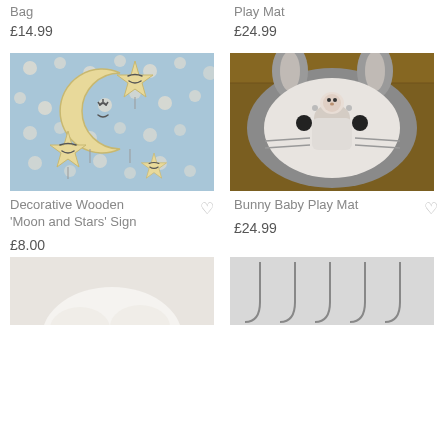Bag
£14.99
Play Mat
£24.99
[Figure (photo): Decorative wooden moon and stars hanging sign on blue floral wallpaper background]
[Figure (photo): Bunny-shaped baby play mat with baby lying on it, on wooden floor]
Decorative Wooden 'Moon and Stars' Sign
£8.00
Bunny Baby Play Mat
£24.99
[Figure (photo): Partially visible product at bottom left]
[Figure (photo): Wire hooks or hangers product at bottom right]